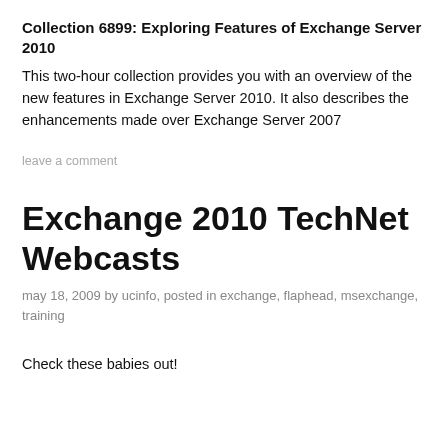Collection 6899: Exploring Features of Exchange Server 2010
This two-hour collection provides you with an overview of the new features in Exchange Server 2010. It also describes the enhancements made over Exchange Server 2007
leave a comment
Exchange 2010 TechNet Webcasts
may 18, 2009 by ucinfo, posted in exchange, flaphead, msexchange, training
Check these babies out!